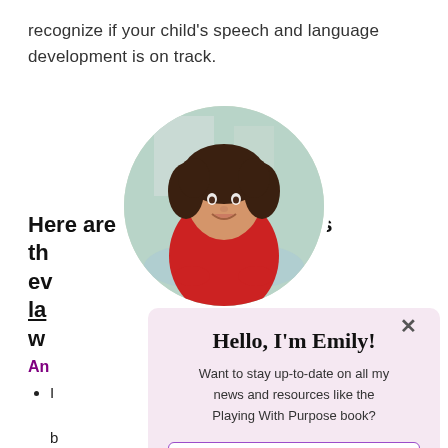recognize if your child's speech and language development is on track.
Here are [signs th] every [la]nguage [w]atcher...
An[y]...
I[...] b[...]
[...] c[...]
[...] j[...]
[Figure (photo): Circular portrait photo of a smiling woman with curly brown hair, wearing a red shirt, standing outdoors near a fountain/city background.]
Hello, I'm Emily!
Want to stay up-to-date on all my news and resources like the Playing With Purpose book?
Your First Name
Your Email